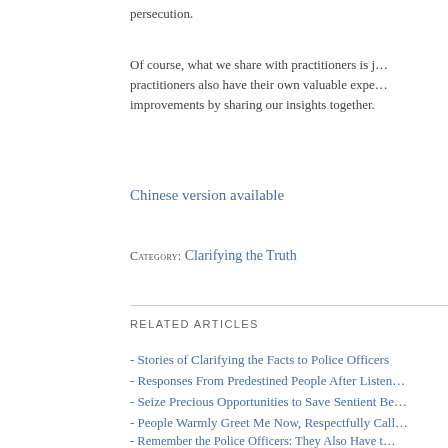persecution.
Of course, what we share with practitioners is j… practitioners also have their own valuable expe… improvements by sharing our insights together.
Chinese version available
CATEGORY: Clarifying the Truth
RELATED ARTICLES
- Stories of Clarifying the Facts to Police Officers
- Responses From Predestined People After Listen…
- Seize Precious Opportunities to Save Sentient Be…
- People Warmly Greet Me Now, Respectfully Call…
- Remember the Police Officers: They Also Have t…
- Clarifying the Truth to Police and Judiciary Offic…